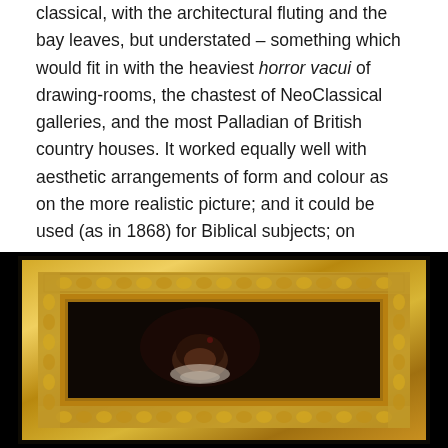classical, with the architectural fluting and the bay leaves, but understated – something which would fit in with the heaviest horror vacui of drawing-rooms, the chastest of NeoClassical galleries, and the most Palladian of British country houses. It worked equally well with aesthetic arrangements of form and colour as on the more realistic picture; and it could be used (as in 1868) for Biblical subjects; on 'Greek' paintings; and for portraits and contemporary subject paintings.
[Figure (photo): Photograph of an ornate gilt picture frame with elaborate leaf and braid decorative carving, against a dark/black background. The frame surrounds a dark painting showing the partial head of a figure, visible at the bottom of the frame.]